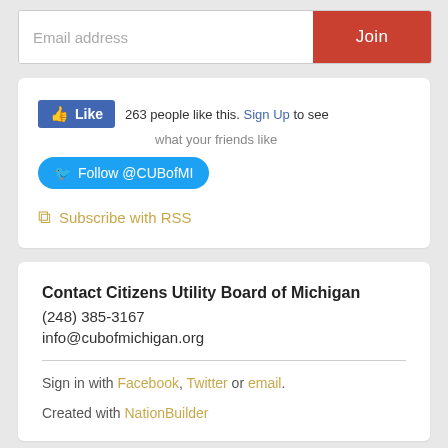[Figure (screenshot): Email address input field with Join button in red]
[Figure (screenshot): Social media widget showing Facebook Like (263 people like this. Sign Up to see what your friends like), Twitter Follow @CUBofMI button, and Subscribe with RSS link]
Contact Citizens Utility Board of Michigan
(248) 385-3167
info@cubofmichigan.org
Sign in with Facebook, Twitter or email.
Created with NationBuilder